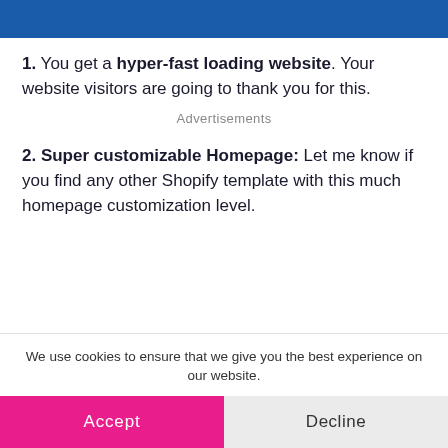[Figure (other): Blue horizontal banner bar at the top of the page]
1. You get a hyper-fast loading website. Your website visitors are going to thank you for this.
Advertisements
2. Super customizable Homepage: Let me know if you find any other Shopify template with this much homepage customization level.
We use cookies to ensure that we give you the best experience on our website.
Accept   Decline